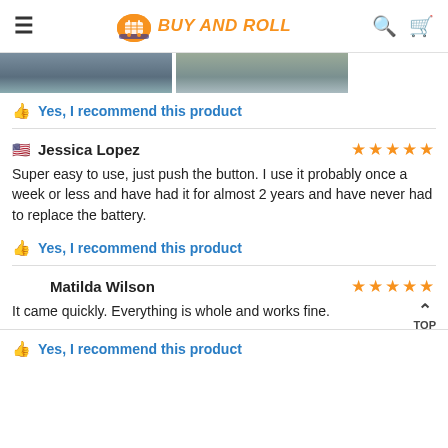BUY AND ROLL
[Figure (photo): Two product photos side by side, partially cut off at top]
Yes, I recommend this product
Jessica Lopez — 5 stars
Super easy to use, just push the button. I use it probably once a week or less and have had it for almost 2 years and have never had to replace the battery.
Yes, I recommend this product
Matilda Wilson — 5 stars
It came quickly. Everything is whole and works fine.
Yes, I recommend this product